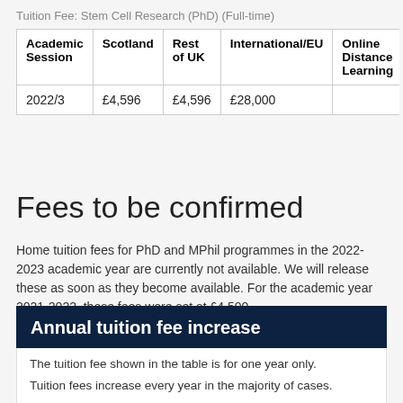Tuition Fee: Stem Cell Research (PhD) (Full-time)
| Academic Session | Scotland | Rest of UK | International/EU | Online Distance Learning |  |
| --- | --- | --- | --- | --- | --- |
| 2022/3 | £4,596 | £4,596 | £28,000 |  |  |
Fees to be confirmed
Home tuition fees for PhD and MPhil programmes in the 2022-2023 academic year are currently not available. We will release these as soon as they become available. For the academic year 2021-2022, these fees were set at £4,500.
Annual tuition fee increase
The tuition fee shown in the table is for one year only.
Tuition fees increase every year in the majority of cases.
If you intend to study over additional years, you should take